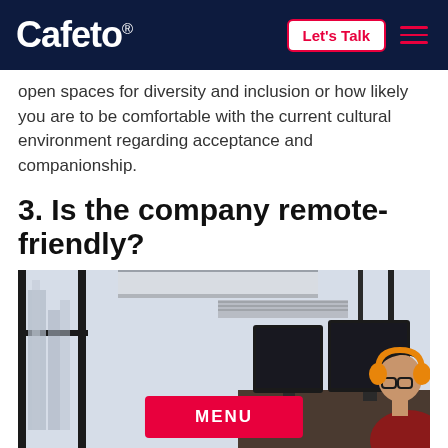Cafeto®  |  Let's Talk  [menu]
open spaces for diversity and inclusion or how likely you are to be comfortable with the current cultural environment regarding acceptance and companionship.
3. Is the company remote-friendly?
[Figure (photo): Person wearing orange headphones sitting at a desk with multiple monitors in a modern office with large windows overlooking a city skyline. A red MENU button overlay is shown at the bottom center of the image.]